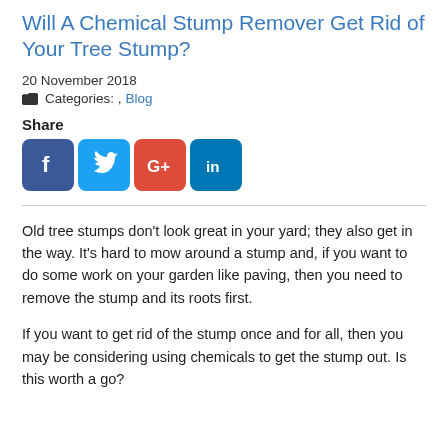Will A Chemical Stump Remover Get Rid of Your Tree Stump?
20 November 2018
Categories: , Blog
Share
[Figure (other): Social media share buttons: Facebook, Twitter, Google+, LinkedIn]
Old tree stumps don't look great in your yard; they also get in the way. It's hard to mow around a stump and, if you want to do some work on your garden like paving, then you need to remove the stump and its roots first.
If you want to get rid of the stump once and for all, then you may be considering using chemicals to get the stump out. Is this worth a go?